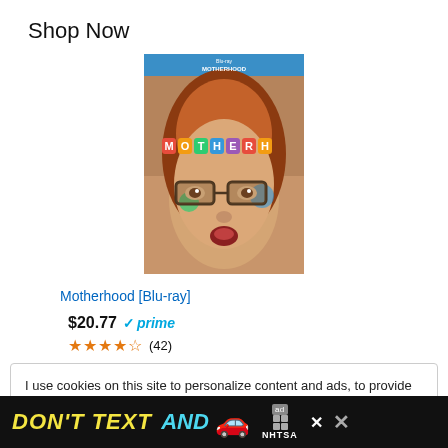Shop Now
[Figure (photo): Motherhood Blu-ray product cover showing a woman with colorful letter stickers on her face and glasses]
Motherhood [Blu-ray]
$20.77 prime (4.5 stars) (42)
I use cookies on this site to personalize content and ads, to provide social media features and to analyze traffic. I also share information about your use of our site with our social media, advertising, and analytics partners who may combine it with other information that you've provided to the that they've collected from your use of their services. Privacy & Cookie Policy
[Figure (infographic): DON'T TEXT AND [car emoji] NHTSA advertisement banner at the bottom of the page]